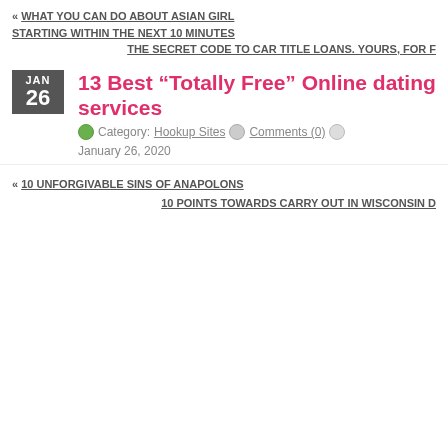« WHAT YOU CAN DO ABOUT ASIAN GIRL STARTING WITHIN THE NEXT 10 MINUTES
THE SECRET CODE TO CAR TITLE LOANS. YOURS, FOR F
13 Best “Totally Free” Online dating services
Category: Hookup Sites   Comments (0)   January 26, 2020
« 10 UNFORGIVABLE SINS OF ANAPOLONS
10 POINTS TOWARDS CARRY OUT IN WISCONSIN D